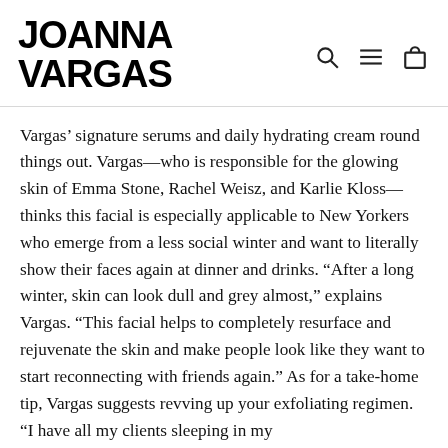JOANNA VARGAS
Vargas’ signature serums and daily hydrating cream round things out. Vargas—who is responsible for the glowing skin of Emma Stone, Rachel Weisz, and Karlie Kloss—thinks this facial is especially applicable to New Yorkers who emerge from a less social winter and want to literally show their faces again at dinner and drinks. “After a long winter, skin can look dull and grey almost,” explains Vargas. “This facial helps to completely resurface and rejuvenate the skin and make people look like they want to start reconnecting with friends again.” As for a take-home tip, Vargas suggests revving up your exfoliating regimen. “I have all my clients sleeping in my